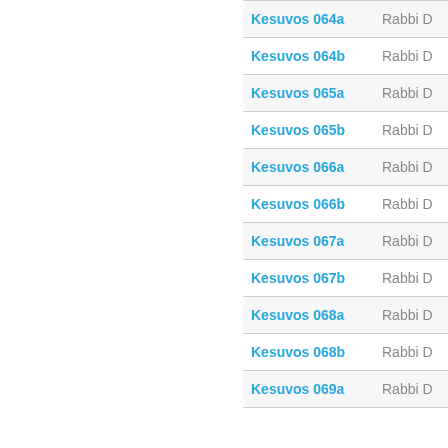| Lesson | Teacher |
| --- | --- |
| Kesuvos 064a | Rabbi D |
| Kesuvos 064b | Rabbi D |
| Kesuvos 065a | Rabbi D |
| Kesuvos 065b | Rabbi D |
| Kesuvos 066a | Rabbi D |
| Kesuvos 066b | Rabbi D |
| Kesuvos 067a | Rabbi D |
| Kesuvos 067b | Rabbi D |
| Kesuvos 068a | Rabbi D |
| Kesuvos 068b | Rabbi D |
| Kesuvos 069a | Rabbi D |